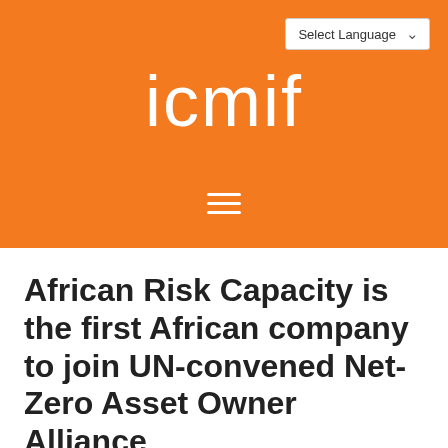[Figure (logo): ICMIF orange header banner with logo text 'icmif' in white, a hamburger menu icon, and a 'Select Language' dropdown in the top right corner]
African Risk Capacity is the first African company to join UN-convened Net-Zero Asset Owner Alliance